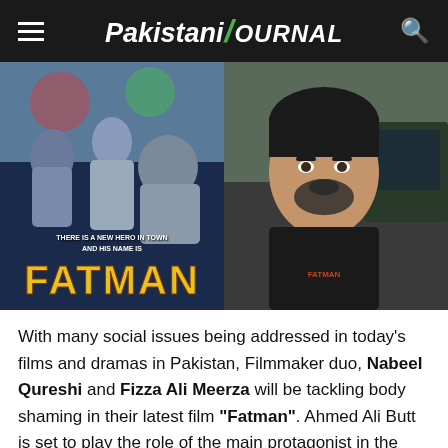Pakistani Journal
[Figure (photo): Left: Movie poster for 'Fatman' showing three people (two men and a woman) with tagline 'THERE IS A NEW HERO IN TOWN AND HIS NAME IS FATMAN' in yellow distressed letters. Right: Selfie photo of a man (Ahmed Ali Butt) wearing a black t-shirt, outdoors near a car.]
With many social issues being addressed in today's films and dramas in Pakistan, Filmmaker duo, Nabeel Qureshi and Fizza Ali Meerza will be tackling body shaming in their latest film "Fatman". Ahmed Ali Butt is set to play the role of the main protagonist in the movie as revealed by the